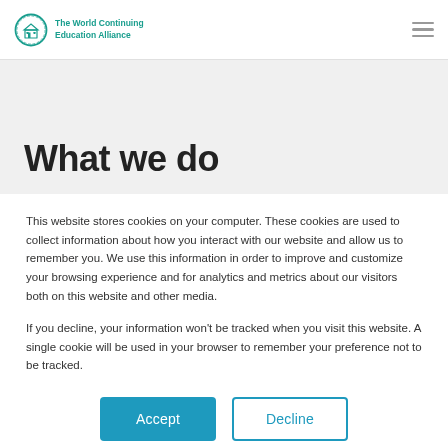The World Continuing Education Alliance
What we do
To significantly improve access to high quality, evidence-based, peer-reviewed education to
This website stores cookies on your computer. These cookies are used to collect information about how you interact with our website and allow us to remember you. We use this information in order to improve and customize your browsing experience and for analytics and metrics about our visitors both on this website and other media.
If you decline, your information won't be tracked when you visit this website. A single cookie will be used in your browser to remember your preference not to be tracked.
Accept
Decline